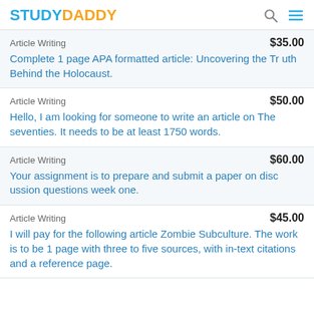STUDYDADDY
Article Writing  $35.00
Complete 1 page APA formatted article: Uncovering the Truth Behind the Holocaust.
Article Writing  $50.00
Hello, I am looking for someone to write an article on The seventies. It needs to be at least 1750 words.
Article Writing  $60.00
Your assignment is to prepare and submit a paper on discussion questions week one.
Article Writing  $45.00
I will pay for the following article Zombie Subculture. The work is to be 1 page with three to five sources, with in-text citations and a reference page.